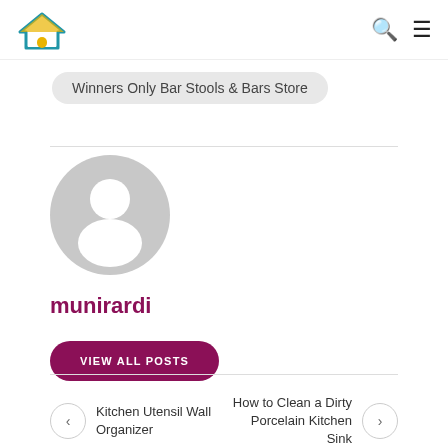Winners Only Bar Stools & Bars Store
[Figure (illustration): Default user avatar: grey circle with white silhouette of a person (head and shoulders)]
munirardi
VIEW ALL POSTS
Kitchen Utensil Wall Organizer
How to Clean a Dirty Porcelain Kitchen Sink